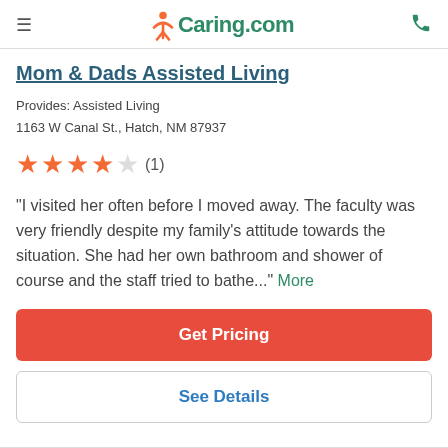Caring.com
Mom & Dads Assisted Living
Provides: Assisted Living
1163 W Canal St., Hatch, NM 87937
★★★★☆ (1)
"I visited her often before I moved away. The faculty was very friendly despite my family's attitude towards the situation. She had her own bathroom and shower of course and the staff tried to bathe..." More
Get Pricing
See Details